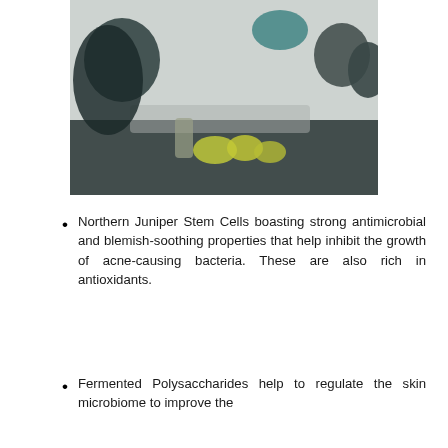[Figure (photo): Blurry photograph of laboratory/cosmetic containers and vials on a surface, with dark and teal colored vessels and yellowish-green liquid samples visible.]
Northern Juniper Stem Cells boasting strong antimicrobial and blemish-soothing properties that help inhibit the growth of acne-causing bacteria. These are also rich in antioxidants.
Fermented Polysaccharides help to regulate the skin microbiome to improve the